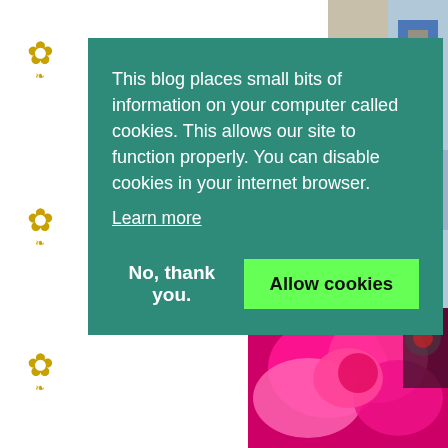[Figure (photo): Blog page background with decorative gold floral/paw motifs on left sidebar, photo of blue and brown decorative item top right, and bright pink/magenta floral ribbon decoration bottom right]
This blog places small bits of information on your computer called cookies. This allows our site to function properly. You can disable cookies in your internet browser.
Learn more
No, thank you.
Allow cookies